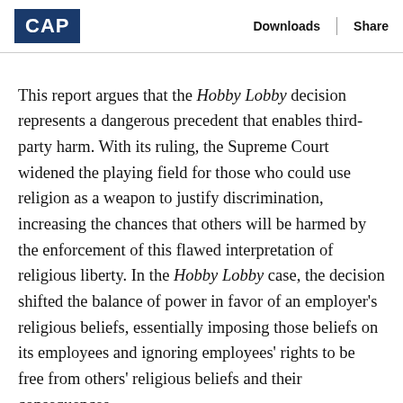CAP | Downloads | Share
This report argues that the Hobby Lobby decision represents a dangerous precedent that enables third-party harm. With its ruling, the Supreme Court widened the playing field for those who could use religion as a weapon to justify discrimination, increasing the chances that others will be harmed by the enforcement of this flawed interpretation of religious liberty. In the Hobby Lobby case, the decision shifted the balance of power in favor of an employer's religious beliefs, essentially imposing those beliefs on its employees and ignoring employees' rights to be free from others' religious beliefs and their consequences.
The Hobby Lobby ruling expanded how third parties are and could be harmed by the expression of another's religious beliefs. Some were very direct and